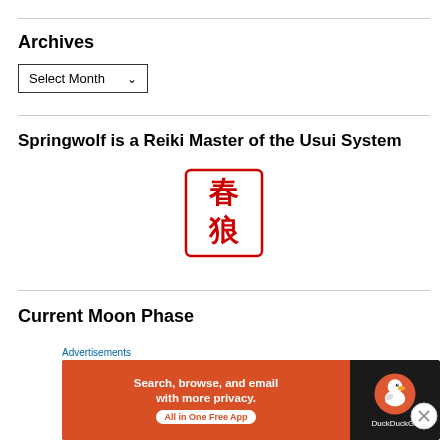Archives
Select Month
Springwolf is a Reiki Master of the Usui System
[Figure (illustration): Red Chinese/Japanese seal stamp with kanji characters for Springwolf in a rectangular border]
Current Moon Phase
Advertisements
[Figure (screenshot): DuckDuckGo advertisement banner: orange background with text 'Search, browse, and email with more privacy. All in One Free App' and DuckDuckGo logo on dark right panel]